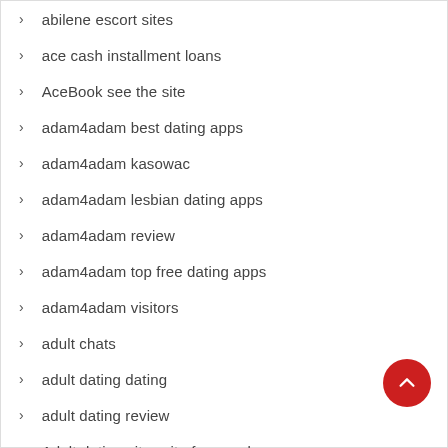abilene escort sites
ace cash installment loans
AceBook see the site
adam4adam best dating apps
adam4adam kasowac
adam4adam lesbian dating apps
adam4adam review
adam4adam top free dating apps
adam4adam visitors
adult chats
adult dating dating
adult dating review
Adult dating sites site for people
Adult Hub visitors
Adultfriendfinder app seiten